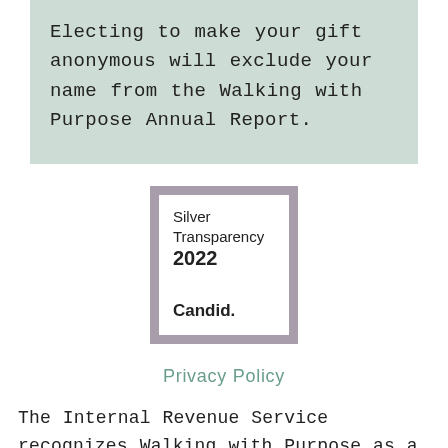Electing to make your gift anonymous will exclude your name from the Walking with Purpose Annual Report.
[Figure (other): Silver Transparency 2022 Candid. seal/badge with grey border]
Privacy Policy
The Internal Revenue Service recognizes Walking with Purpose as a 501(c)